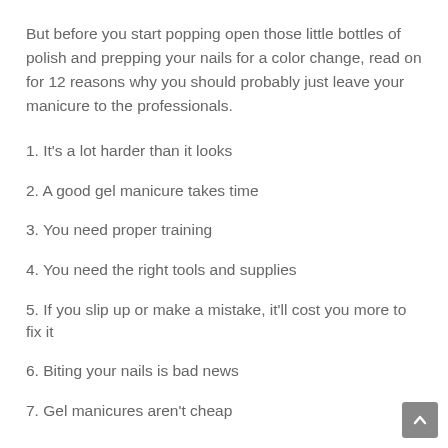But before you start popping open those little bottles of polish and prepping your nails for a color change, read on for 12 reasons why you should probably just leave your manicure to the professionals.
1. It's a lot harder than it looks
2. A good gel manicure takes time
3. You need proper training
4. You need the right tools and supplies
5. If you slip up or make a mistake, it'll cost you more to fix it
6. Biting your nails is bad news
7. Gel manicures aren't cheap